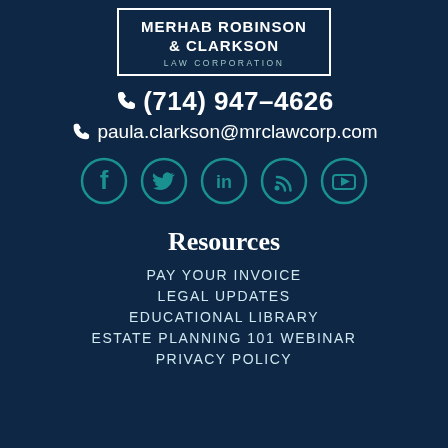[Figure (logo): Merhab Robinson & Clarkson Law Corporation logo in a bordered box]
(714) 947-4626
paula.clarkson@mrclawcorp.com
[Figure (illustration): Row of five social media icons: Facebook, Twitter, LinkedIn, RSS, YouTube — teal outlined circles on dark background]
Resources
PAY YOUR INVOICE
LEGAL UPDATES
EDUCATIONAL LIBRARY
ESTATE PLANNING 101 WEBINAR
PRIVACY POLICY